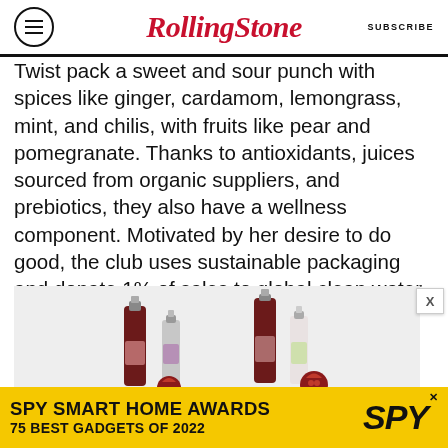RollingStone | SUBSCRIBE
Twist pack a sweet and sour punch with spices like ginger, cardamom, lemongrass, mint, and chilis, with fruits like pear and pomegranate. Thanks to antioxidants, juices sourced from organic suppliers, and prebiotics, they also have a wellness component. Motivated by her desire to do good, the club uses sustainable packaging and donate 1% of sales to global clean water access initiatives.
[Figure (photo): Photo of several small beverage bottles with pomegranate fruit pieces, displayed on a light grey background.]
[Figure (infographic): Advertisement banner: SPY SMART HOME AWARDS 75 BEST GADGETS OF 2022 with SPY logo on yellow background.]